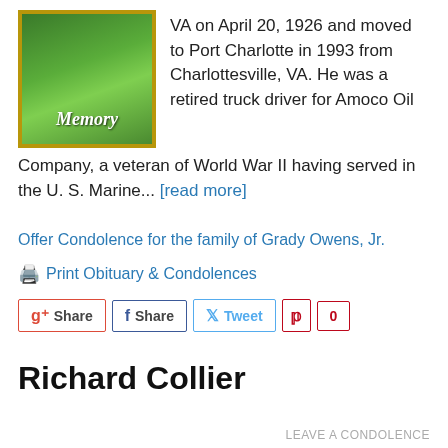[Figure (illustration): A decorative 'In Memory' image with green grass background and gold border, with cursive white text reading 'Memory']
VA on April 20, 1926 and moved to Port Charlotte in 1993 from Charlottesville, VA. He was a retired truck driver for Amoco Oil Company, a veteran of World War II having served in the U. S. Marine... [read more]
Offer Condolence for the family of Grady Owens, Jr.
Print Obituary & Condolences
Share  Share  Tweet  0
Richard Collier
LEAVE A CONDOLENCE